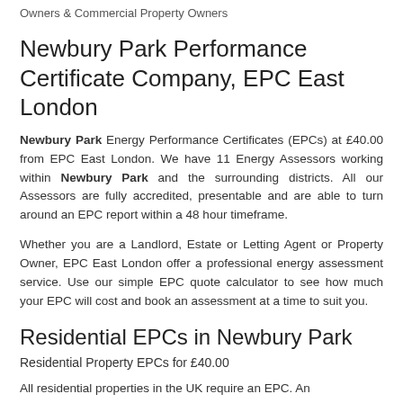Owners & Commercial Property Owners
Newbury Park Performance Certificate Company, EPC East London
Newbury Park Energy Performance Certificates (EPCs) at £40.00 from EPC East London. We have 11 Energy Assessors working within Newbury Park and the surrounding districts. All our Assessors are fully accredited, presentable and are able to turn around an EPC report within a 48 hour timeframe.
Whether you are a Landlord, Estate or Letting Agent or Property Owner, EPC East London offer a professional energy assessment service. Use our simple EPC quote calculator to see how much your EPC will cost and book an assessment at a time to suit you.
Residential EPCs in Newbury Park
Residential Property EPCs for £40.00
All residential properties in the UK require an EPC. An